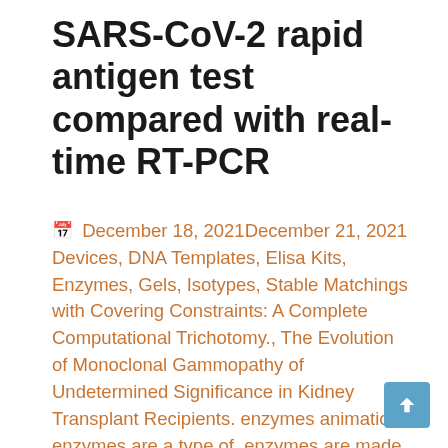SARS-CoV-2 rapid antigen test compared with real-time RT-PCR
December 18, 2021December 21, 2021 Devices, DNA Templates, Elisa Kits, Enzymes, Gels, Isotypes, Stable Matchings with Covering Constraints: A Complete Computational Trichotomy., The Evolution of Monoclonal Gammopathy of Undetermined Significance in Kidney Transplant Recipients. enzymes animation, enzymes are a type of, enzymes are made of, enzymes are proteins, enzymes are usually composed of, enzymes definition,